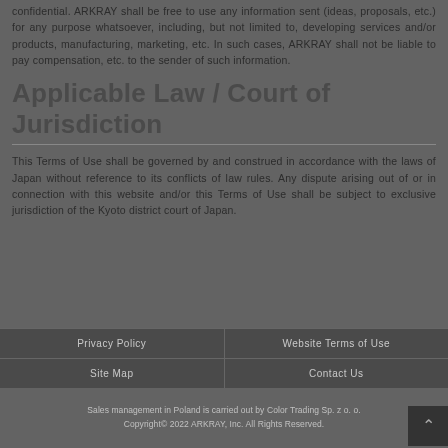confidential. ARKRAY shall be free to use any information sent (ideas, proposals, etc.) for any purpose whatsoever, including, but not limited to, developing services and/or products, manufacturing, marketing, etc. In such cases, ARKRAY shall not be liable to pay compensation, etc. to the sender of such information.
Applicable Law / Court of Jurisdiction
This Terms of Use shall be governed by and construed in accordance with the laws of Japan without reference to its conflicts of law rules. Any dispute arising out of or in connection with this website and/or this Terms of Use shall be subject to exclusive jurisdiction of the Kyoto district court of Japan.
| Privacy Policy | Website Terms of Use |
| --- | --- |
| Site Map | Contact Us |
Sales management in Poland is carried out by Color Trading Sp. z o. o.
Copyright© 2022 ARKRAY, Inc. All Rights Reserved.